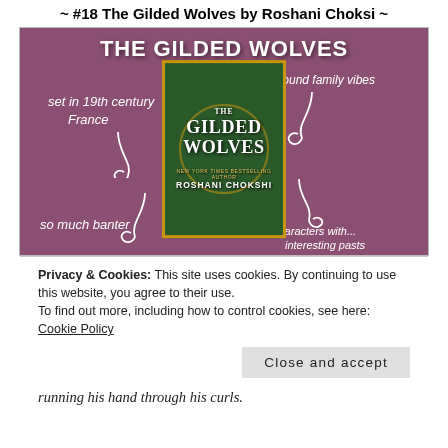~ #18 The Gilded Wolves by Roshani Choksi ~
[Figure (illustration): Promotional graphic for 'The Gilded Wolves' by Roshani Choksi. Purple/mauve textured background with a book cover image in the center. White text around the book reads: 'THE GILDED WOLVES' at the top, 'set in 19th century France' on the left with a curl, 'found family vibes' on the right with a curl, 'so much banter' on the lower left with a curl, 'characters with... interesting pasts' on the lower right with a curl.]
Privacy & Cookies: This site uses cookies. By continuing to use this website, you agree to their use.
To find out more, including how to control cookies, see here: Cookie Policy
Close and accept
running his hand through his curls.